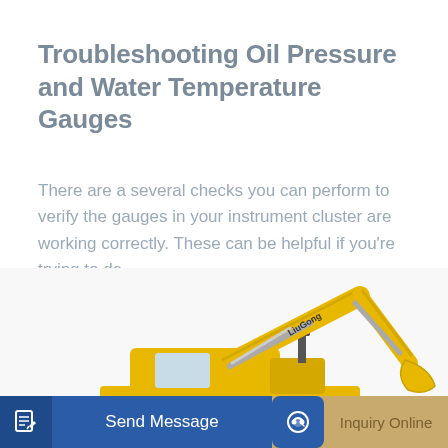Troubleshooting Oil Pressure and Water Temperature Gauges
There are a several checks you can perform to verify the gauges in your instrument cluster are working correctly. These can be helpful if you're trying to de
[Figure (other): Teal/blue rounded button labeled 'Learn More']
[Figure (photo): Yellow LiuGong excavator construction machine photographed from the side, showing arm and tracks]
[Figure (other): Bottom action bar with 'Send Message' button (blue) on the left and 'Inquiry Online' button (tan/gold) on the right]